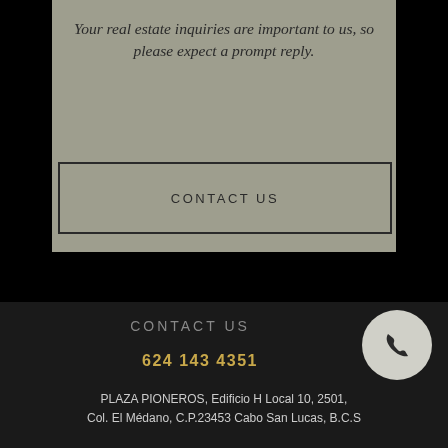Your real estate inquiries are important to us, so please expect a prompt reply.
CONTACT US
CONTACT US
624 143 4351
PLAZA PIONEROS, Edificio H Local 10, 2501, Col. El Médano, C.P.23453 Cabo San Lucas, B.C.S